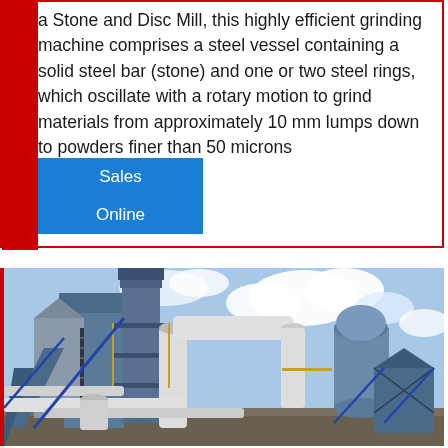a Stone and Disc Mill, this highly efficient grinding machine comprises a steel vessel containing a solid steel bar (stone) and one or two steel rings, which oscillate with a rotary motion to grind materials from approximately 10 mm lumps down to powders finer than 50 microns
Sales
Online
[Figure (photo): Industrial grinding/milling facility with blue steel structures, large silos, white pipes and ductwork, against a partly cloudy sky]